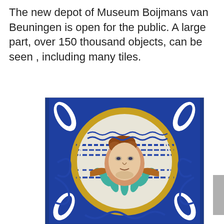The new depot of Museum Boijmans van Beuningen is open for the public. A large part, over 150 thousand objects, can be seen , including many tiles.
[Figure (photo): A decorative ceramic tile from Museum Boijmans van Beuningen depot. The tile features a blue background with white and blue scrolling patterns in the corners. In the center is a large circular medallion with yellow/gold ring borders, containing a painted cherub or angel face with wings in brown and turquoise colors, surrounded by a radiating petal design. The background within the circle shows horizontal blue brush strokes on white.]